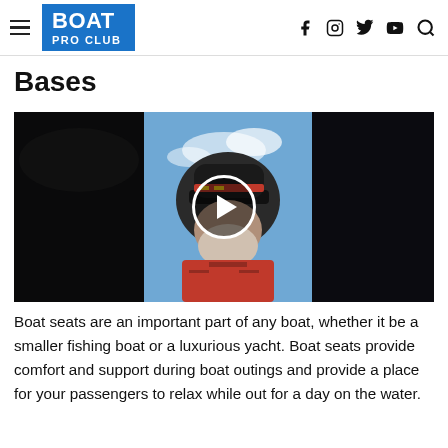BOAT PRO CLUB
Bases
[Figure (photo): Video thumbnail showing an older man wearing a cap and red jacket, outdoors against a blue sky. A play button (white circle with triangle) is overlaid in the center.]
Boat seats are an important part of any boat, whether it be a smaller fishing boat or a luxurious yacht. Boat seats provide comfort and support during boat outings and provide a place for your passengers to relax while out for a day on the water.